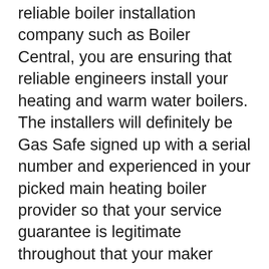reliable boiler installation company such as Boiler Central, you are ensuring that reliable engineers install your heating and warm water boilers. The installers will definitely be Gas Safe signed up with a serial number and experienced in your picked main heating boiler provider so that your service guarantee is legitimate throughout that your maker provides you. We continuously suggest that you contrast funding offers for your new boiler setup and make sure that the rates of interest that you pay is perfect for you. Worcester Bosch as well as Viessmann are most likely the most reliable main heating boiler brand names to go with whether purchasing on financial obligation or money outright.